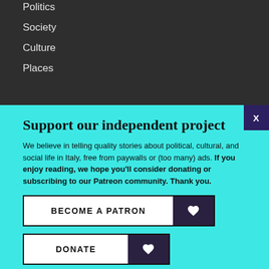Politics
Society
Culture
Places
Support our independent project
We believe in telling quality stories about political, cultural, and social life in Italy, free from paywalls or (too many) ads. If you enjoy reading, we hope you'll consider donating or subscribing to our Patreon community. Thank you.
BECOME A PATRON
DONATE
Follow us: Facebook Instagram Twitter